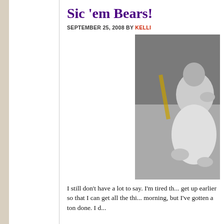Sic 'em Bears!
SEPTEMBER 25, 2008 BY KELLI
[Figure (photo): Black and white photograph of a person outdoors, partially visible on the right side of the layout]
I still don't have a lot to say. I'm tired th... get up earlier so that I can get all the thi... morning, but I've gotten a ton done. I d...